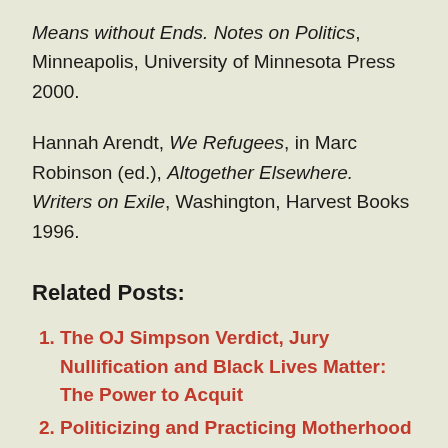Means without Ends. Notes on Politics, Minneapolis, University of Minnesota Press 2000.
Hannah Arendt, We Refugees, in Marc Robinson (ed.), Altogether Elsewhere. Writers on Exile, Washington, Harvest Books 1996.
Related Posts:
The OJ Simpson Verdict, Jury Nullification and Black Lives Matter: The Power to Acquit
Politicizing and Practicing Motherhood